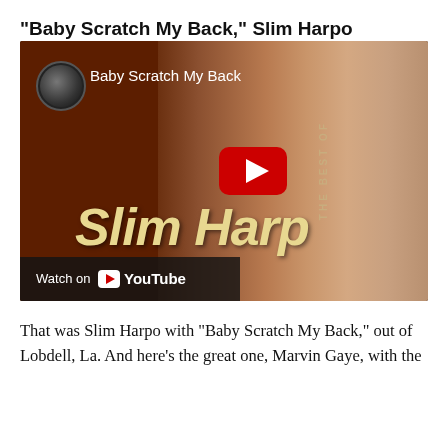“Baby Scratch My Back,” Slim Harpo
[Figure (screenshot): YouTube video thumbnail for 'Baby Scratch My Back' by Slim Harpo. Shows a sepia-toned album cover image of a man in a white suit jacket with the text 'Slim Harp' visible. A red YouTube play button is shown in the center. A channel avatar and video title appear in the top-left. A 'Watch on YouTube' bar appears at the bottom-left.]
That was Slim Harpo with “Baby Scratch My Back,” out of Lobdell, La. And here’s the great one, Marvin Gaye, with the